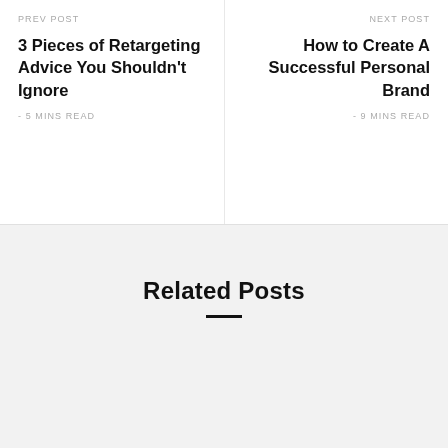PREV POST
3 Pieces of Retargeting Advice You Shouldn't Ignore
- 5 MINS READ
NEXT POST
How to Create A Successful Personal Brand
- 9 MINS READ
Related Posts